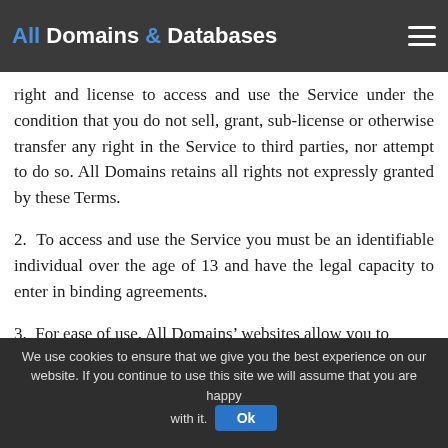All Domains & Databases
1. Under the Terms, you are granted a limited, revocable, non-transferable, non-sublicensable and non-exclusive right and license to access and use the Service under the condition that you do not sell, grant, sub-license or otherwise transfer any right in the Service to third parties, nor attempt to do so. All Domains retains all rights not expressly granted by these Terms.
2. To access and use the Service you must be an identifiable individual over the age of 13 and have the legal capacity to enter in binding agreements.
3. For ease of use, All Domains’ websites allow you to
We use cookies to ensure that we give you the best experience on our website. If you continue to use this site we will assume that you are happy with it.